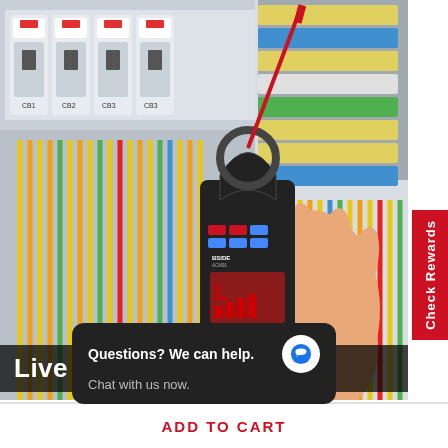[Figure (photo): A person holding a BSIDE clamp meter/multimeter (ACM91 model, True RMS AC & DC Clamp Meter) in front of an electrical panel with circuit breakers labeled CB1, CB2, CB3, CB3 and colorful wires (yellow, orange, green, blue, red). The clamp meter has a red test probe inserted and displays 'L' and bar segments on its LCD screen.]
Check Rewards
Live Wire Check...
Questions? We can help. Chat with us now.
ADD TO CART